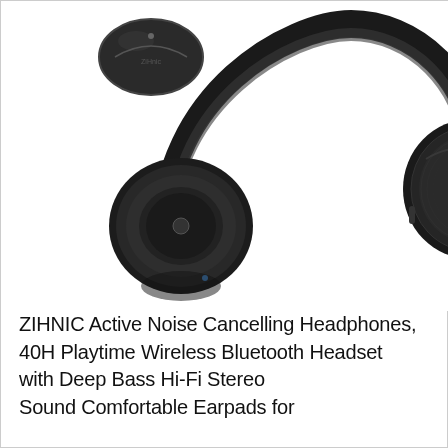[Figure (photo): Product photo of ZIHNIC over-ear black wireless headphones with a small black carrying case visible in the upper left. The headphones are large, over-ear style with brushed metallic ear cups and dark padding. The carrying case is round/oval with a zipper.]
ZIHNIC Active Noise Cancelling Headphones, 40H Playtime Wireless Bluetooth Headset with Deep Bass Hi-Fi Stereo Sound Comfortable Earpads for